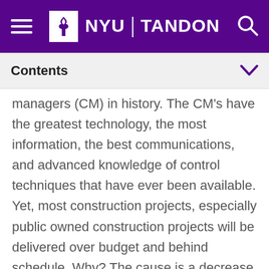NYU TANDON
Contents
managers (CM) in history.  The CM's have the greatest technology, the most information, the best communications, and advanced knowledge of control techniques that have ever been available.  Yet, most construction projects, especially public owned construction projects will be delivered over budget and behind schedule.  Why? The cause is a decrease in productivity in the most general sense.  This decrease has accelerated because of the movement in making construction